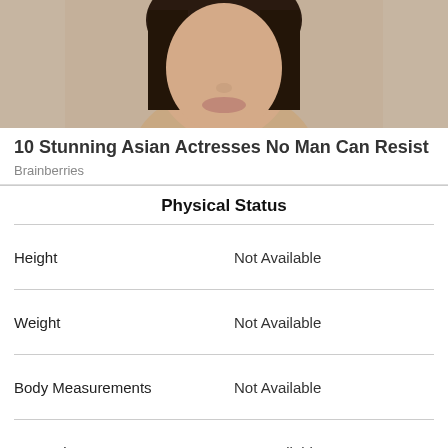[Figure (photo): Close-up photo of a woman's face with dark hair against a beige/neutral background]
10 Stunning Asian Actresses No Man Can Resist
Brainberries
Physical Status
|  |  |
| --- | --- |
| Height | Not Available |
| Weight | Not Available |
| Body Measurements | Not Available |
| Eye Color | Not Available |
| Hair Color | Not Available |